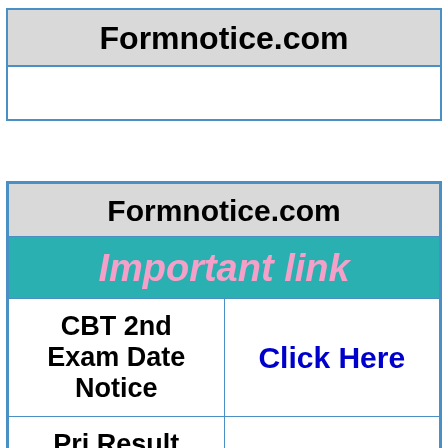Formnotice.com
| Formnotice.com |  |
| --- | --- |
| Important link |  |
| CBT 2nd Exam Date Notice | Click Here |
| Pri Result Download | Click Here |